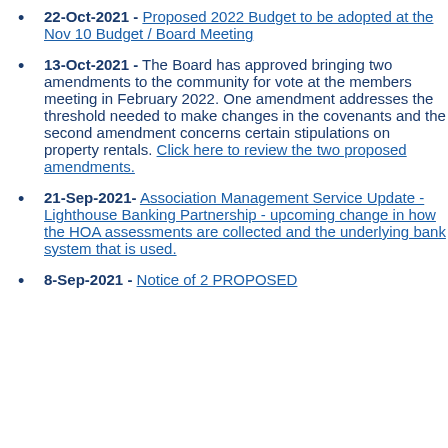22-Oct-2021 - Proposed 2022 Budget to be adopted at the Nov 10 Budget / Board Meeting
13-Oct-2021 - The Board has approved bringing two amendments to the community for vote at the members meeting in February 2022. One amendment addresses the threshold needed to make changes in the covenants and the second amendment concerns certain stipulations on property rentals. Click here to review the two proposed amendments.
21-Sep-2021- Association Management Service Update - Lighthouse Banking Partnership - upcoming change in how the HOA assessments are collected and the underlying bank system that is used.
8-Sep-2021 - Notice of 2 PROPOSED